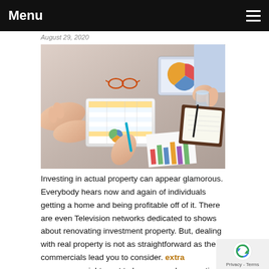Menu
August 29, 2020
[Figure (photo): Business meeting scene viewed from above: people around a table with laptop showing charts, tablet, bar chart paper, notebook and pen, glass of water]
Investing in actual property can appear glamorous. Everybody hears now and again of individuals getting a home and being profitable off of it. There are even Television networks dedicated to shows about renovating investment property. But, dealing with real property is not as straightforward as the commercials lead you to consider. extra resources might want to have a good suggestion of what you're doing. The next